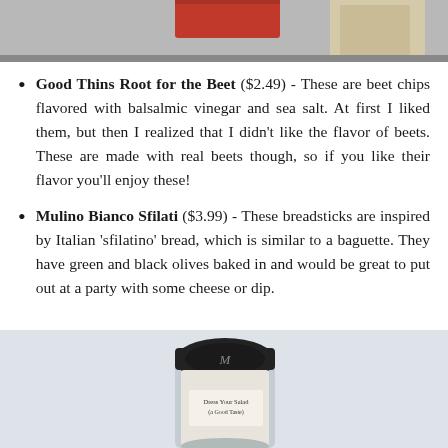[Figure (photo): Partial view of food product packaging at the top of the page]
Good Thins Root for the Beet ($2.49) - These are beet chips flavored with balsalmic vinegar and sea salt. At first I liked them, but then I realized that I didn't like the flavor of beets. These are made with real beets though, so if you like their flavor you'll enjoy these!
Mulino Bianco Sfilati ($3.99) - These breadsticks are inspired by Italian 'sfilatino' bread, which is similar to a baguette. They have green and black olives baked in and would be great to put out at a party with some cheese or dip.
[Figure (photo): Photo of a small jar/container product, partially visible at bottom of page, with label reading 'Dress Your Salad (a Good Taste)']